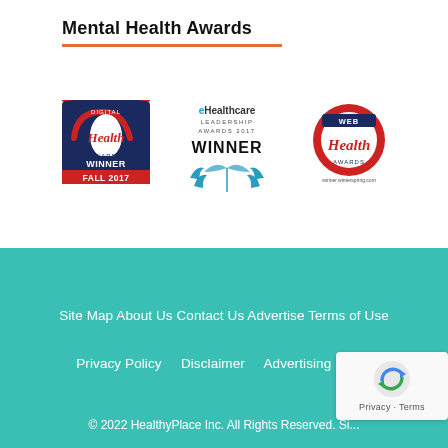Mental Health Awards
[Figure (logo): Digital Health Awards WINNER FALL 2017 badge - dark blue background with red and white award graphic]
[Figure (logo): eHealthcare Leadership Awards 2017 WINNER badge with teal laurel wreath design]
[Figure (logo): Web Health Awards badge with red and blue award graphic on white background]
Site Map About Us Contact Us Advertise Terms of Use Privacy Policy Disclaimer Advertising Policy © 2022 HealthyPlace Inc. All Rights Reserved. Si...